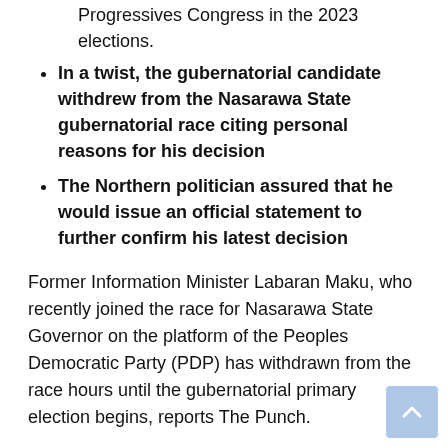Nasarawa State from the control of the ruling All Progressives Congress in the 2023 elections.
In a twist, the gubernatorial candidate withdrew from the Nasarawa State gubernatorial race citing personal reasons for his decision
The Northern politician assured that he would issue an official statement to further confirm his latest decision
Former Information Minister Labaran Maku, who recently joined the race for Nasarawa State Governor on the platform of the Peoples Democratic Party (PDP) has withdrawn from the race hours until the gubernatorial primary election begins, reports The Punch.
Speaking on Wednesday May 25 at the venue of the PDP primary in the state's Nasarawa local government area, former APGA leader Maku said he had extensive consultations with friends and associates, including party stakeholders, before deciding to withdraw from the competition.